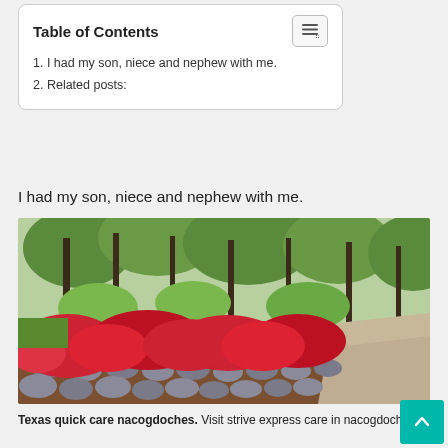Table of Contents
1. I had my son, niece and nephew with me.
2. Related posts:
I had my son, niece and nephew with me.
[Figure (photo): Garden path lined with bright red azalea bushes bordered by grey stones, tall trees with green foliage in background, paved walkway on the right side.]
Texas quick care nacogdoches. Visit strive express care in nacogdoches, tx for your urgent or emergency care concerns